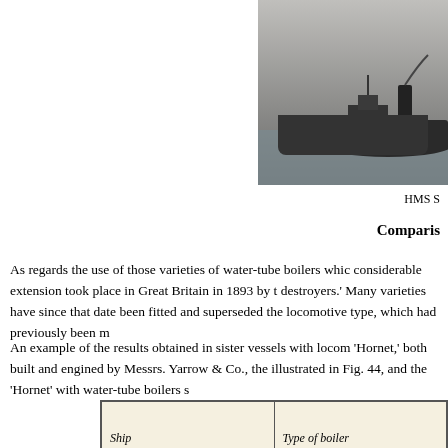[Figure (photo): Black and white photograph of HMS ship on water, partial view cropped at right edge of page]
HMS S
Comparis
As regards the use of those varieties of water-tube boilers whic considerable extension took place in Great Britain in 1893 by t destroyers.' Many varieties have since that date been fitted and superseded the locomotive type, which had previously been m
An example of the results obtained in sister vessels with locom 'Hornet,' both built and engined by Messrs. Yarrow & Co., the illustrated in Fig. 44, and the 'Hornet' with water-tube boilers s
| Ship | Type of boiler |
| --- | --- |